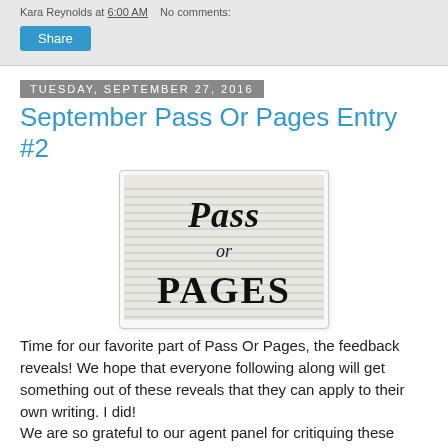Kara Reynolds at 6:00 AM   No comments:
Share
Tuesday, September 27, 2016
September Pass Or Pages Entry #2
[Figure (photo): Handwritten-style 'Pass or PAGES' text on lined notebook paper background]
Time for our favorite part of Pass Or Pages, the feedback reveals! We hope that everyone following along will get something out of these reveals that they can apply to their own writing. I did!
We are so grateful to our agent panel for critiquing these entries. We would also like to give a shout-out to the authors for being brave and willing to improve.